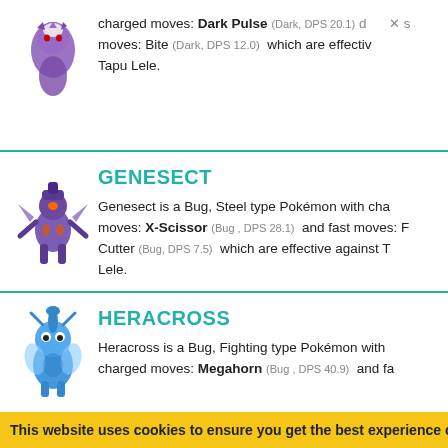charged moves: Dark Pulse (Dark, DPS 20.1) and fast moves: Bite (Dark, DPS 12.0) which are effective against Tapu Lele.
GENESECT
Genesect is a Bug, Steel type Pokémon with charged moves: X-Scissor (Bug, DPS 28.1) and fast moves: Fury Cutter (Bug, DPS 7.5) which are effective against Tapu Lele.
HERACROSS
Heracross is a Bug, Fighting type Pokémon with charged moves: Megahorn (Bug, DPS 40.9) and fa
This website uses cookies to ensure you get the best experience on ou